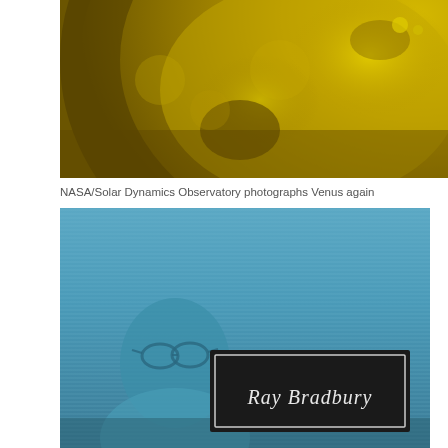[Figure (photo): NASA/Solar Dynamics Observatory photograph of Venus against the Sun — golden/yellow toned surface with craters and solar features visible]
NASA/Solar Dynamics Observatory photographs Venus again
[Figure (photo): Book cover or photograph toned in teal/blue showing Ray Bradbury — an elderly man wearing glasses with a dark label box in the center reading 'Ray Bradbury' in elegant script]